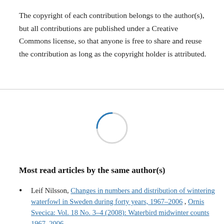The copyright of each contribution belongs to the author(s), but all contributions are published under a Creative Commons license, so that anyone is free to share and reuse the contribution as long as the copyright holder is attributed.
[Figure (other): Loading spinner — a partial circle arc in blue/grey indicating content is loading]
Most read articles by the same author(s)
Leif Nilsson, Changes in numbers and distribution of wintering waterfowl in Sweden during forty years, 1967–2006 , Ornis Svecica: Vol. 18 No. 3–4 (2008): Waterbird midwinter counts 1967–2006
Leif Nilsson, Hakon Kampe-Persson, Local movements